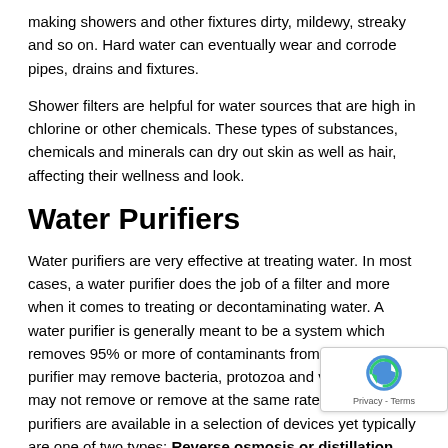making showers and other fixtures dirty, mildewy, streaky and so on. Hard water can eventually wear and corrode pipes, drains and fixtures.
Shower filters are helpful for water sources that are high in chlorine or other chemicals. These types of substances, chemicals and minerals can dry out skin as well as hair, affecting their wellness and look.
Water Purifiers
Water purifiers are very effective at treating water. In most cases, a water purifier does the job of a filter and more when it comes to treating or decontaminating water. A water purifier is generally meant to be a system which removes 95% or more of contaminants from water. So, a purifier may remove bacteria, protozoa and viruses a fi... may not remove or remove at the same rate. Water purifiers are available in a selection of devices yet typic... are one of two types: Reverse osmosis or distillation